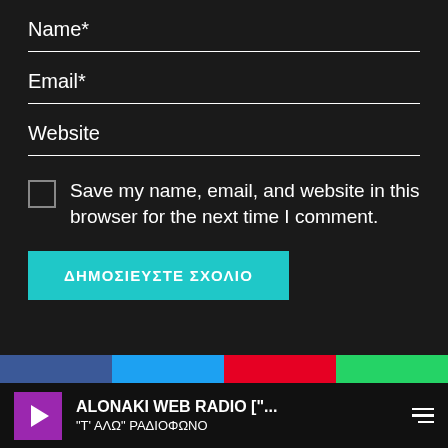Name*
Email*
Website
Save my name, email, and website in this browser for the next time I comment.
ΔΗΜΟΣΙΕΥΣΤΕ ΣΧΟΛΙΟ
[Figure (screenshot): Social media share bar with Facebook, Twitter, Pinterest, and WhatsApp sections]
ALONAKI WEB RADIO ["... 
"Τ' ΑΛΩ" ΡΑΔΙΟΦΩΝΟ